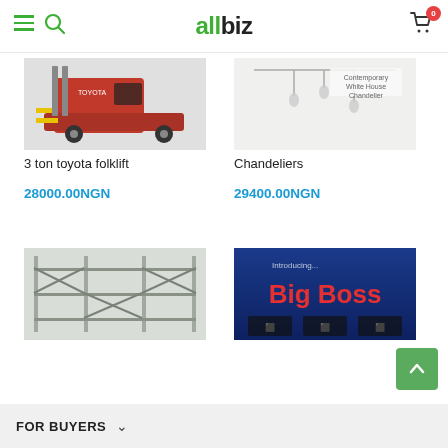allbiz
[Figure (photo): Red Toyota 3-ton forklift]
3 ton toyota folklift
28000.00NGN
[Figure (photo): Contemporary White House Chandelier product listing image]
Chandeliers
29400.00NGN
[Figure (photo): Metal scaffolding structure]
[Figure (photo): Introducing Big Boss product banner]
FOR BUYERS